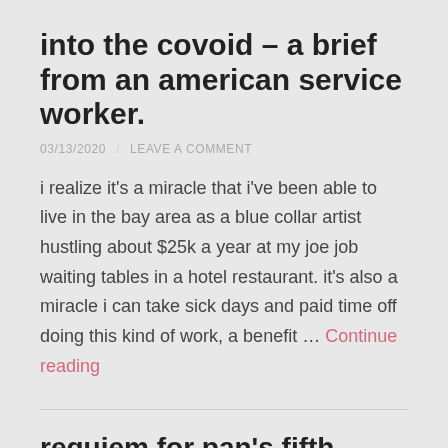into the covoid – a brief from an american service worker.
03/13/2020  /  LEAVE A COMMENT
i realize it's a miracle that i've been able to live in the bay area as a blue collar artist hustling about $25k a year at my joe job waiting tables in a hotel restaurant. it's also a miracle i can take sick days and paid time off doing this kind of work, a benefit … Continue reading
requiem for pan's fifth.
12/25/2019  /  LEAVE A COMMENT